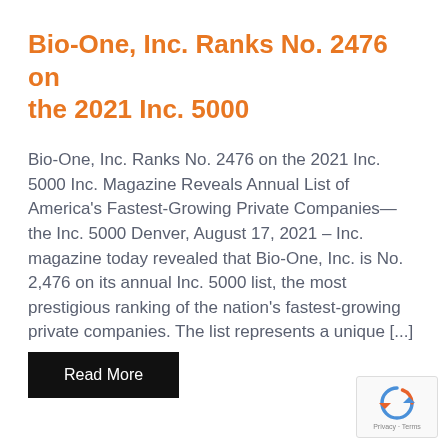Bio-One, Inc. Ranks No. 2476 on the 2021 Inc. 5000
Bio-One, Inc. Ranks No. 2476 on the 2021 Inc. 5000 Inc. Magazine Reveals Annual List of America's Fastest-Growing Private Companies—the Inc. 5000 Denver, August 17, 2021 – Inc. magazine today revealed that Bio-One, Inc. is No. 2,476 on its annual Inc. 5000 list, the most prestigious ranking of the nation's fastest-growing private companies. The list represents a unique [...]
[Figure (other): Read More button — black rectangular button with white text]
[Figure (other): reCAPTCHA widget in bottom-right corner showing the recaptcha logo and Privacy · Terms text]